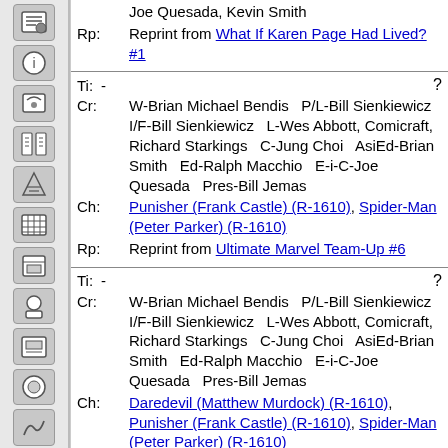Joe Quesada, Kevin Smith
Rp: Reprint from What If Karen Page Had Lived? #1
Ti: - ?
Cr: W-Brian Michael Bendis  P/L-Bill Sienkiewicz  I/F-Bill Sienkiewicz  L-Wes Abbott, Comicraft, Richard Starkings  C-Jung Choi  AsiEd-Brian Smith  Ed-Ralph Macchio  E-i-C-Joe Quesada  Pres-Bill Jemas
Ch: Punisher (Frank Castle) (R-1610), Spider-Man (Peter Parker) (R-1610)
Rp: Reprint from Ultimate Marvel Team-Up #6
Ti: - ?
Cr: W-Brian Michael Bendis  P/L-Bill Sienkiewicz  I/F-Bill Sienkiewicz  L-Wes Abbott, Comicraft, Richard Starkings  C-Jung Choi  AsiEd-Brian Smith  Ed-Ralph Macchio  E-i-C-Joe Quesada  Pres-Bill Jemas
Ch: Daredevil (Matthew Murdock) (R-1610), Punisher (Frank Castle) (R-1610), Spider-Man (Peter Parker) (R-1610)
Rp: Reprint from Ultimate Marvel Team-Up #7